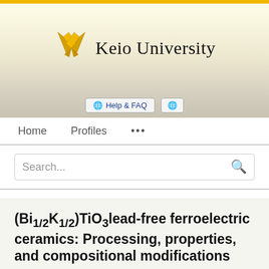[Figure (logo): Keio University logo with crossed pen nibs in gold/yellow and the text 'Keio University' in serif font]
[Figure (screenshot): Navigation bar with Help & FAQ button and globe icon button]
Home   Profiles   ...
Search...
(Bi1/2K1/2)TiO3lead-free ferroelectric ceramics: Processing, properties, and compositional modifications
Manabu Hagiwara